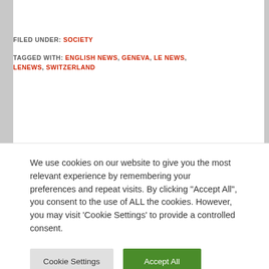FILED UNDER: SOCIETY
TAGGED WITH: ENGLISH NEWS, GENEVA, LE NEWS, LENEWS, SWITZERLAND
Next Page »
We use cookies on our website to give you the most relevant experience by remembering your preferences and repeat visits. By clicking "Accept All", you consent to the use of ALL the cookies. However, you may visit 'Cookie Settings' to provide a controlled consent.